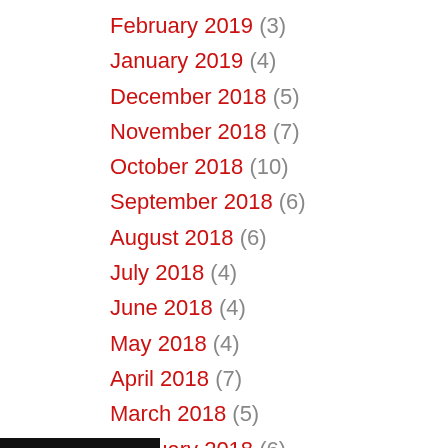February 2019 (3)
January 2019 (4)
December 2018 (5)
November 2018 (7)
October 2018 (10)
September 2018 (6)
August 2018 (6)
July 2018 (4)
June 2018 (4)
May 2018 (4)
April 2018 (7)
March 2018 (5)
February 2018 (6)